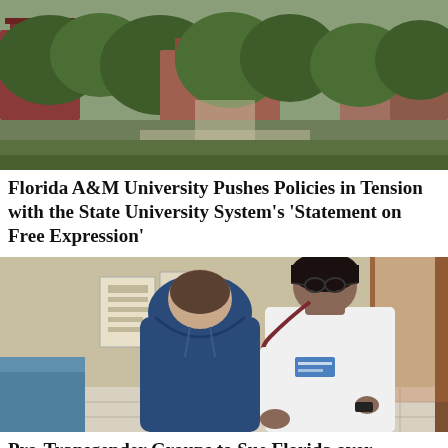[Figure (photo): Aerial view of Florida A&M University campus showing green trees, pathways, and brick buildings]
Florida A&M University Pushes Policies in Tension with the State University System’s ‘Statement on Free Expression’
[Figure (photo): A Black female doctor in a white coat using a stethoscope to examine a young boy in a blue hoodie in a medical office]
Pro-Transgender Groups to Sue Florida over